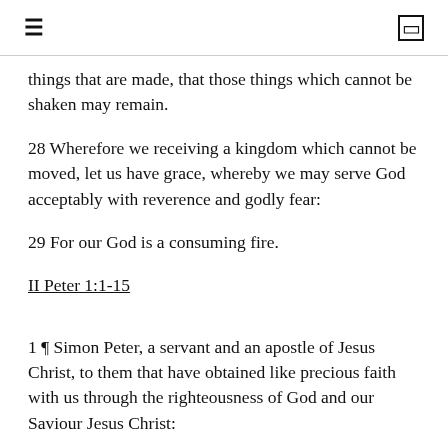≡  □
things that are made, that those things which cannot be shaken may remain.
28 Wherefore we receiving a kingdom which cannot be moved, let us have grace, whereby we may serve God acceptably with reverence and godly fear:
29 For our God is a consuming fire.
II Peter 1:1-15
1 ¶ Simon Peter, a servant and an apostle of Jesus Christ, to them that have obtained like precious faith with us through the righteousness of God and our Saviour Jesus Christ: